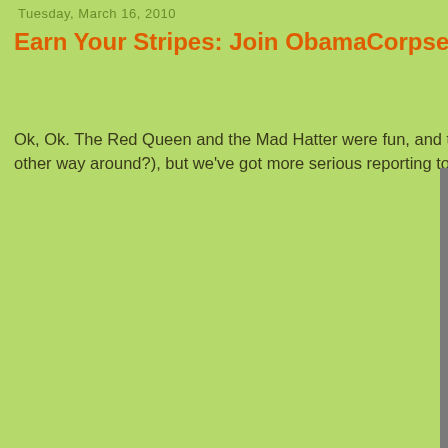Tuesday, March 16, 2010
Earn Your Stripes: Join ObamaCorpse Today
Ok, Ok. The Red Queen and the Mad Hatter were fun, and the Ne other way around?), but we've got more serious reporting to do no
[Figure (photo): A smiling woman in a pink striped sleeveless blouse with a bow at the neck, speaking at a podium with a microphone, photographed against a grey background.]